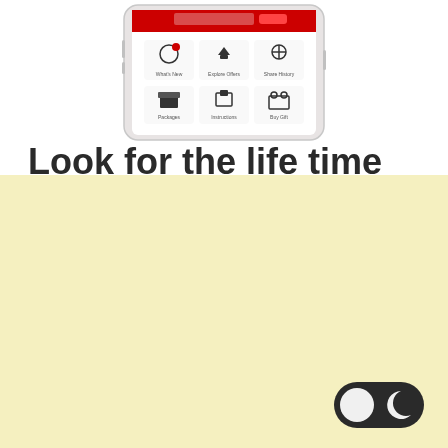[Figure (screenshot): Partial phone/tablet mockup showing a mobile app interface with grid of icons including What's New, Explore Offers, Share History, Packages, Instructions, Buy Gift]
Look for the life time
[Figure (illustration): Light/dark mode toggle button in bottom-right corner over yellow background, showing a half-white half-dark circle icon on the left and a crescent moon icon on the right, on a dark pill-shaped background]